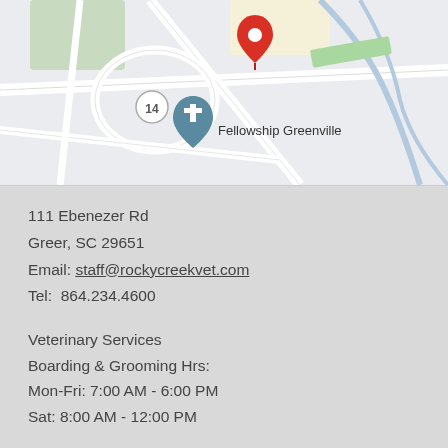[Figure (map): Google Maps screenshot showing a location pin near Fellowship Greenville, Greer SC area, with route 14 visible]
111 Ebenezer Rd
Greer, SC 29651
Email: staff@rockycreekvet.com
Tel: 864.234.4600
Veterinary Services
Boarding & Grooming Hrs:
Mon-Fri: 7:00 AM - 6:00 PM
Sat: 8:00 AM - 12:00 PM
CONTACT US
[Figure (infographic): Footer bar with three icons: green phone icon, pink/magenta email envelope icon, blue Facebook icon]